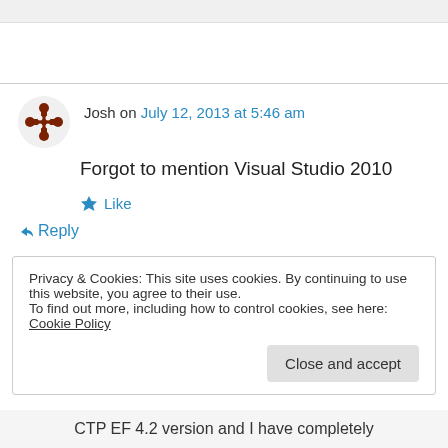Josh on July 12, 2013 at 5:46 am
Forgot to mention Visual Studio 2010
★ Like
↳ Reply
Privacy & Cookies: This site uses cookies. By continuing to use this website, you agree to their use.
To find out more, including how to control cookies, see here: Cookie Policy
Close and accept
CTP EF 4.2 version and I have completely